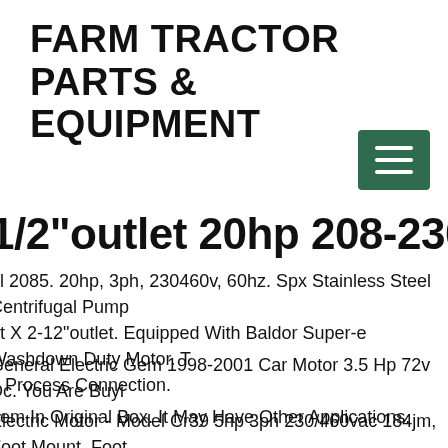FARM TRACTOR PARTS & EQUIPMENT
[Figure (other): Green hamburger menu button with three white horizontal lines]
1/2" outlet 20hp 208-230/460v 60h...
el 2085. 20hp, 3ph, 230460v, 60hz. Spx Stainless Steel Centrifugal Pump... et X 2-12"outlet. Equipped With Baldor Super-e Washdown Duty Motor. T... p Process Connection.
General Electric Gem 1998-2001 Car Motor 3.5 Hp 72v Dc. You Are Buyi... Item In Original Box. It May Have Other Applications.
Electric Motor - Model Cr39 5hp 3ph 230/460vac 184jm, Foot Mount. Foot... t. Special Application Close Coupled Pump. Model No. Mounting Type.
zgo Txt 48 Volt High Torque Golf art Motor 5 Hp Amd Shunt Motor